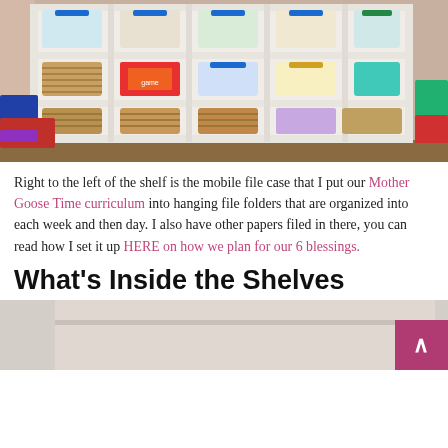[Figure (photo): A white cubby shelf unit filled with clear plastic bins with blue handles on the top rows and wicker/rattan baskets on the lower rows, organized with various toys, games, and supplies. Items are also placed on the sides of the shelf.]
Right to the left of the shelf is the mobile file case that I put our Mother Goose Time curriculum into hanging file folders that are organized into each week and then day. I also have other papers filed in there, you can read how I set it up HERE on how we plan for our 6 blessings.
What's Inside the Shelves
[Figure (photo): A partial view of a shelf or furniture piece, bottom of image, light gray/beige tones.]